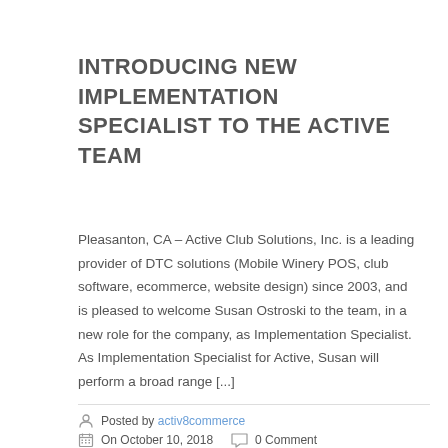INTRODUCING NEW IMPLEMENTATION SPECIALIST TO THE ACTIVE TEAM
Pleasanton, CA – Active Club Solutions, Inc. is a leading provider of DTC solutions (Mobile Winery POS, club software, ecommerce, website design) since 2003, and is pleased to welcome Susan Ostroski to the team, in a new role for the company, as Implementation Specialist. As Implementation Specialist for Active, Susan will perform a broad range [...]
Posted by activ8commerce | On October 10, 2018 | 0 Comment